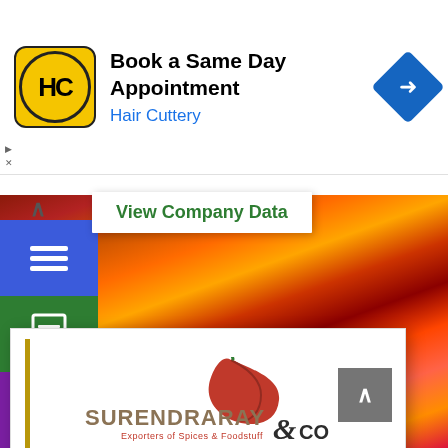[Figure (screenshot): Ad banner for Hair Cuttery: logo (HC circle on yellow), text 'Book a Same Day Appointment' and 'Hair Cuttery', blue diamond navigation icon on right]
View Company Data
[Figure (infographic): Vertical sidebar with colored square icon buttons: blue (hamburger menu), green (document), purple (archive box), teal (location pin), violet (search magnifier)]
[Figure (logo): Surendraray & Co logo - red chili graphic above gold/dark text 'SURENDRARAY &CO' with subtitle 'Exporters of Spices & Foodstuff']
Surendraray and Co
Mumbai Maharashtra India
View Company Data